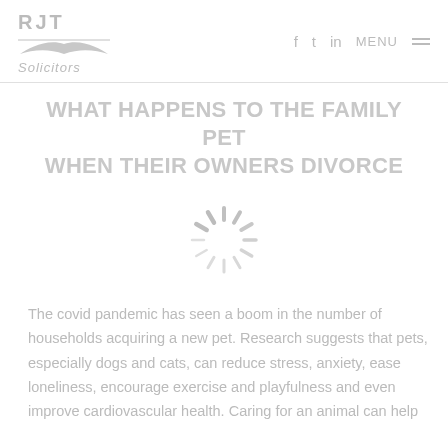RJT Solicitors — navigation header with social icons (f, t, in), MENU
WHAT HAPPENS TO THE FAMILY PET WHEN THEIR OWNERS DIVORCE
[Figure (illustration): Loading spinner / radial burst graphic in light grey]
The covid pandemic has seen a boom in the number of households acquiring a new pet. Research suggests that pets, especially dogs and cats, can reduce stress, anxiety, ease loneliness, encourage exercise and playfulness and even improve cardiovascular health. Caring for an animal can help